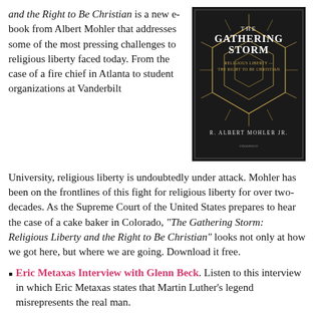and the Right to Be Christian is a new e-book from Albert Mohler that addresses some of the most pressing challenges to religious liberty faced today. From the case of a fire chief in Atlanta to student organizations at Vanderbilt University, religious liberty is undoubtedly under attack. Mohler has been on the frontlines of this fight for religious liberty for over two-decades. As the Supreme Court of the United States prepares to hear the case of a cake baker in Colorado, “The Gathering Storm: Religious Liberty and the Right to Be Christian” looks not only at how we got here, but where we are going. Download it free.
[Figure (illustration): Book cover for 'The Gathering Storm: Religious Liberty and the Right to Be Christian' by R. Albert Mohler Jr. Dark background with gold geometric diamond/sunburst design and white text.]
Eric Metaxas Interview with Glenn Beck. Listen to this interview in which Eric Metaxas states that Martin Luther’s legend misrepresents the real man.